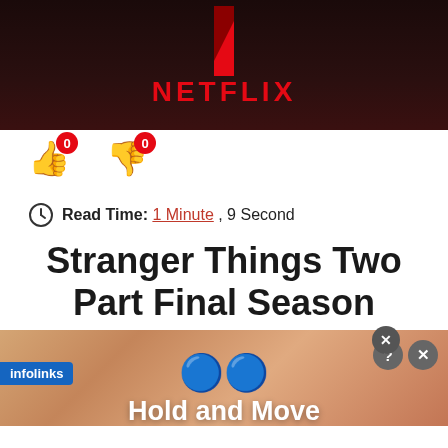[Figure (screenshot): Netflix banner with dark reddish-black background and NETFLIX text in red]
[Figure (infographic): Thumbs up and thumbs down emoji vote buttons each showing count of 0]
Read Time: 1 Minute , 9 Second
Stranger Things Two Part Final Season Premiere Dates
[Figure (screenshot): Advertisement overlay showing Hold and Move app with blue figure icons and wood background, with infolinks label and close buttons]